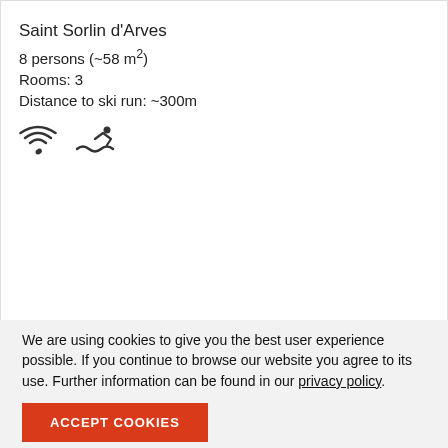Saint Sorlin d'Arves
8 persons (~58 m²)
Rooms: 3
Distance to ski run: ~300m
[Figure (infographic): WiFi icon and swimming/pool icon]
starting from 500 €
[Figure (photo): Interior room photo with warm wall lamps and red patterned fabric/curtain on the right]
21/295
We are using cookies to give you the best user experience possible. If you continue to browse our website you agree to its use. Further information can be found in our privacy policy.
ACCEPT COOKIES